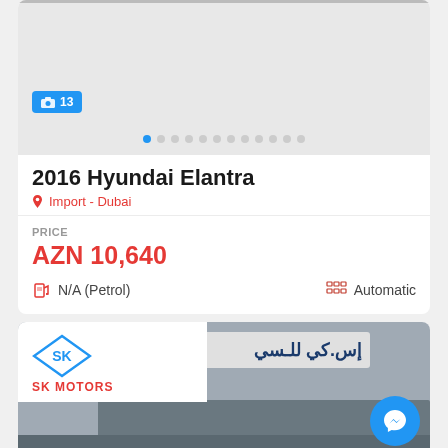[Figure (photo): Car listing image placeholder with photo count badge showing 13 photos, and image carousel dots]
2016 Hyundai Elantra
Import - Dubai
PRICE
AZN 10,640
N/A (Petrol)
Automatic
[Figure (photo): SK Motors dealer storefront photo with Arabic signage, SK Motors logo in corner, and Messenger chat button overlay]